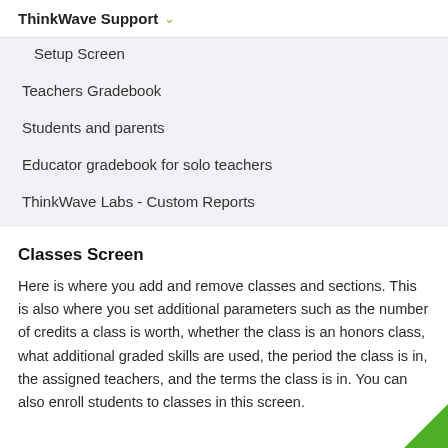ThinkWave Support
Setup Screen
Teachers Gradebook
Students and parents
Educator gradebook for solo teachers
ThinkWave Labs - Custom Reports
Classes Screen
Here is where you add and remove classes and sections. This is also where you set additional parameters such as the number of credits a class is worth, whether the class is an honors class, what additional graded skills are used, the period the class is in, the assigned teachers, and the terms the class is in. You can also enroll students to classes in this screen.